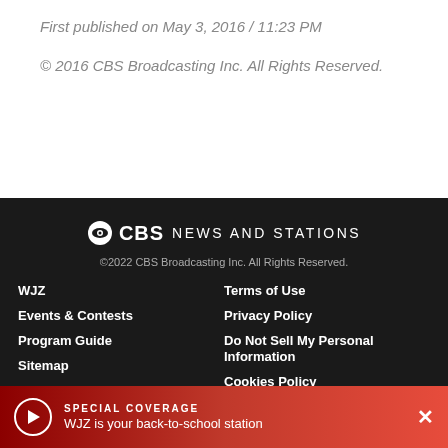First published on May 3, 2016 / 11:23 PM
© 2016 CBS Broadcasting Inc. All Rights Reserved.
[Figure (logo): CBS News and Stations logo with CBS eye icon]
©2022 CBS Broadcasting Inc. All Rights Reserved.
WJZ
Events & Contests
Program Guide
Sitemap
About Us
Advertise
Paramount+
CBS Television Jobs
Terms of Use
Privacy Policy
Do Not Sell My Personal Information
Cookies Policy
Public File for WJZ-TV
SPECIAL COVERAGE
WJZ is your back-to-school station